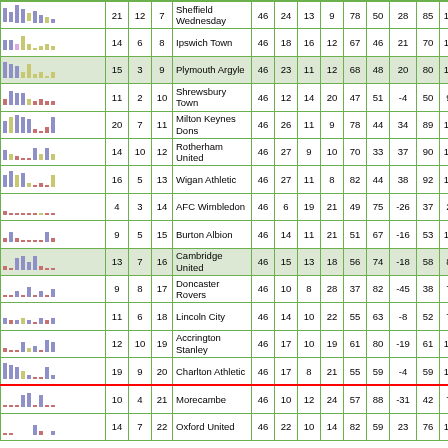| Form | W | D | # | Team | P | W | D | L | GF | GA | GD | Pts |  |
| --- | --- | --- | --- | --- | --- | --- | --- | --- | --- | --- | --- | --- | --- |
| [chart] | 21 | 12 | 7 | Sheffield Wednesday | 46 | 24 | 13 | 9 | 78 | 50 | 28 | 85 | 16 |
| [chart] | 14 | 6 | 8 | Ipswich Town | 46 | 18 | 16 | 12 | 67 | 46 | 21 | 70 | 11 |
| [chart] | 15 | 3 | 9 | Plymouth Argyle | 46 | 23 | 11 | 12 | 68 | 48 | 20 | 80 | 14 |
| [chart] | 11 | 2 | 10 | Shrewsbury Town | 46 | 12 | 14 | 20 | 47 | 51 | -4 | 50 | 9 |
| [chart] | 20 | 7 | 11 | Milton Keynes Dons | 46 | 26 | 11 | 9 | 78 | 44 | 34 | 89 | 13 |
| [chart] | 14 | 10 | 12 | Rotherham United | 46 | 27 | 9 | 10 | 70 | 33 | 37 | 90 | 15 |
| [chart] | 16 | 5 | 13 | Wigan Athletic | 46 | 27 | 11 | 8 | 82 | 44 | 38 | 92 | 13 |
| [chart] | 4 | 3 | 14 | AFC Wimbledon | 46 | 6 | 19 | 21 | 49 | 75 | -26 | 37 | 2 |
| [chart] | 9 | 5 | 15 | Burton Albion | 46 | 14 | 11 | 21 | 51 | 67 | -16 | 53 | 10 |
| [chart] | 13 | 7 | 16 | Cambridge United | 46 | 15 | 13 | 18 | 56 | 74 | -18 | 58 | 8 |
| [chart] | 9 | 8 | 17 | Doncaster Rovers | 46 | 10 | 8 | 28 | 37 | 82 | -45 | 38 | 7 |
| [chart] | 11 | 6 | 18 | Lincoln City | 46 | 14 | 10 | 22 | 55 | 63 | -8 | 52 | 7 |
| [chart] | 12 | 10 | 19 | Accrington Stanley | 46 | 17 | 10 | 19 | 61 | 80 | -19 | 61 | 12 |
| [chart] | 19 | 9 | 20 | Charlton Athletic | 46 | 17 | 8 | 21 | 55 | 59 | -4 | 59 | 10 |
| [chart] | 10 | 4 | 21 | Morecambe | 46 | 10 | 12 | 24 | 57 | 88 | -31 | 42 | 7 |
| [chart] | 14 | 7 | 22 | Oxford United | 46 | 22 | 10 | 14 | 82 | 59 | 23 | 76 | 13 |